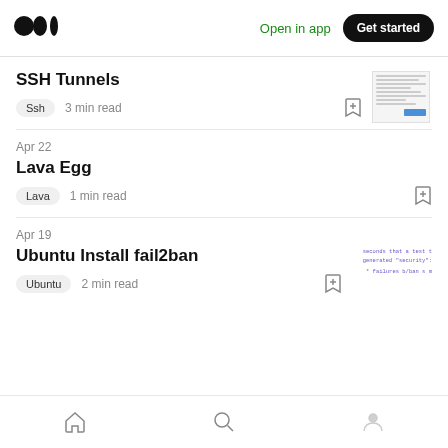Open in app | Get started
SSH Tunnels
Ssh  3 min read
Apr 22
Lava Egg
Lava  1 min read
Apr 19
Ubuntu Install fail2ban
Ubuntu  2 min read
Home | Search | Profile